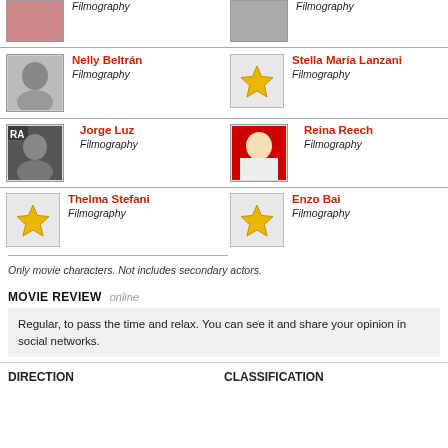[Figure (photo): Actor photo (top left, partially visible)]
Filmography
[Figure (photo): Actor photo (top right, partially visible)]
Filmography
Nelly Beltrán
Filmography
Stella María Lanzani
Filmography
Jorge Luz
Filmography
Reina Reech
Filmography
Thelma Stefani
Filmography
Enzo Bai
Filmography
Only movie characters. Not includes secondary actors.
MOVIE REVIEW online
Regular, to pass the time and relax. You can see it and share your opinion in social networks.
DIRECTION
CLASSIFICATION